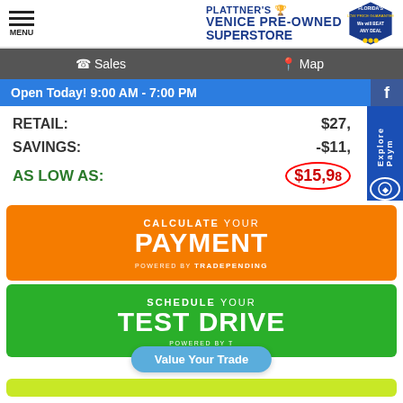MENU | Plattner's Venice Pre-Owned Superstore | Florida's Low Price Guarantee - We Will Beat Any Deal
Sales | Map
Open Today! 9:00 AM - 7:00 PM
| Label | Value |
| --- | --- |
| RETAIL: | $27,... |
| SAVINGS: | -$11,... |
| AS LOW AS: | $15,9... |
[Figure (infographic): Orange button: CALCULATE YOUR PAYMENT powered by TRADEPENDING]
[Figure (infographic): Green button: SCHEDULE YOUR TEST DRIVE powered by T... with Value Your Trade pill overlay]
[Figure (infographic): Lime/yellow-green button at bottom (partially visible)]